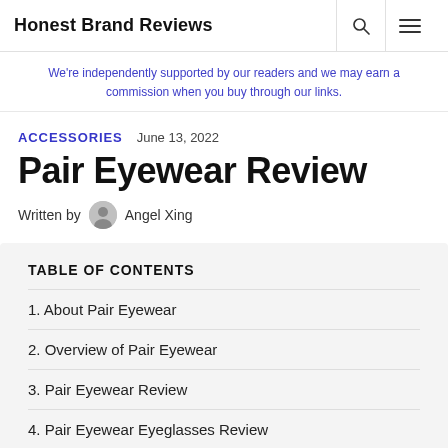Honest Brand Reviews
We're independently supported by our readers and we may earn a commission when you buy through our links.
ACCESSORIES   June 13, 2022
Pair Eyewear Review
Written by Angel Xing
TABLE OF CONTENTS
1. About Pair Eyewear
2. Overview of Pair Eyewear
3. Pair Eyewear Review
4. Pair Eyewear Eyeglasses Review